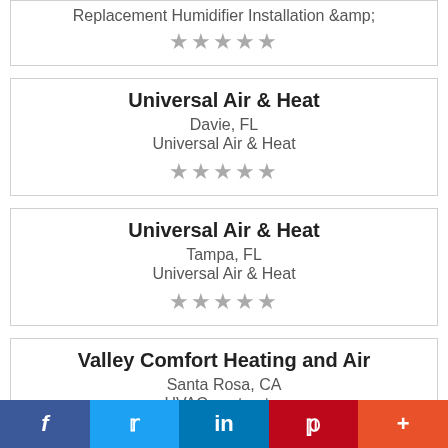Replacement Humidifier Installation &amp;
★★★★★
Universal Air & Heat
Davie, FL
Universal Air & Heat
★★★★★
Universal Air & Heat
Tampa, FL
Universal Air & Heat
★★★★★
Valley Comfort Heating and Air
Santa Rosa, CA
HVAC contractor
f  🐦  in  P  +